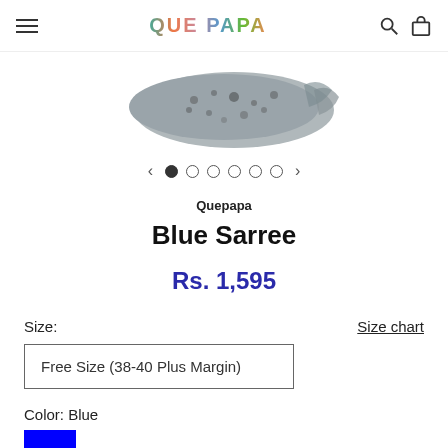QUE PAPA
[Figure (photo): A blue/grey stone or mineral specimen (Blue Sarree product image), partially visible at the top of the page]
Quepapa
Blue Sarree
Rs. 1,595
Size:
Size chart
Free Size (38-40 Plus Margin)
Color: Blue